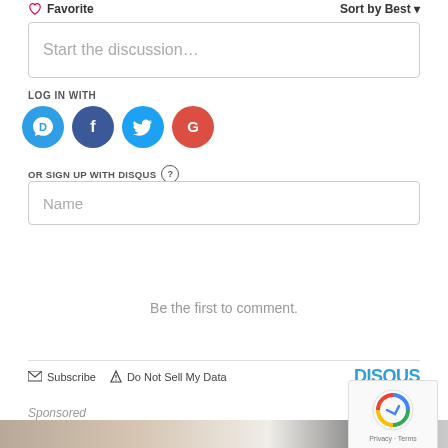Favorite   Sort by Best
Start the discussion…
LOG IN WITH
[Figure (illustration): Four social login icons: Disqus (blue speech bubble with D), Facebook (dark blue circle with F), Twitter (light blue circle with bird), Google (red circle with G)]
OR SIGN UP WITH DISQUS ?
Name
Be the first to comment.
Subscribe   Do Not Sell My Data   DISQUS
Sponsored